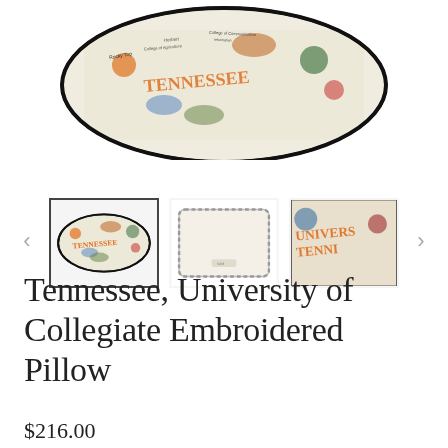[Figure (photo): Main product image: embroidered pillow showing University of Tennessee themed design with colorful embroidery, slightly cropped at top]
[Figure (photo): Thumbnail row with three small images: (1) selected thumbnail of the embroidered front of the pillow with border, (2) back of pillow in plain cream/white, (3) close-up detail of the embroidery. Navigation arrows on each side.]
Tennessee, University of Collegiate Embroidered Pillow
$216.00